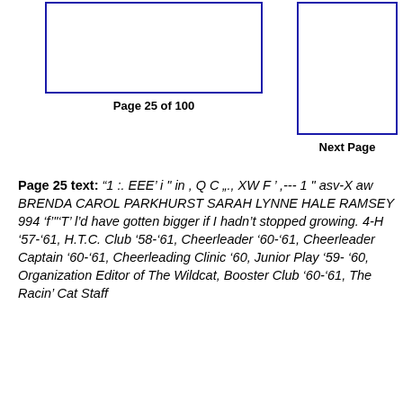[Figure (photo): Photo placeholder box, left side]
Page 25 of 100
[Figure (photo): Photo placeholder box, right side]
Next Page
Page 25 text: “1 :. EEE' i " in , Q C „.,  XW F ' ,--- 1 " asv-X aw BRENDA CAROL PARKHURST SARAH LYNNE HALE RAMSEY 994 'f'"'T' l'd have gotten bigger if I hadn't stopped growing. 4-H '57-'61, H.T.C. Club '58-'61, Cheerleader '60-'61, Cheerleader Captain '60-'61, Cheerleading Clinic '60, Junior Play '59-'60, Organization Editor of The Wildcat, Booster Club '60-'61, The Racin' Cat Staff